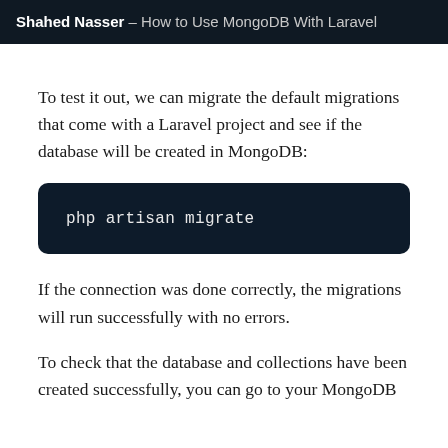Shahed Nasser – How to Use MongoDB With Laravel
To test it out, we can migrate the default migrations that come with a Laravel project and see if the database will be created in MongoDB:
php artisan migrate
If the connection was done correctly, the migrations will run successfully with no errors.
To check that the database and collections have been created successfully, you can go to your MongoDB